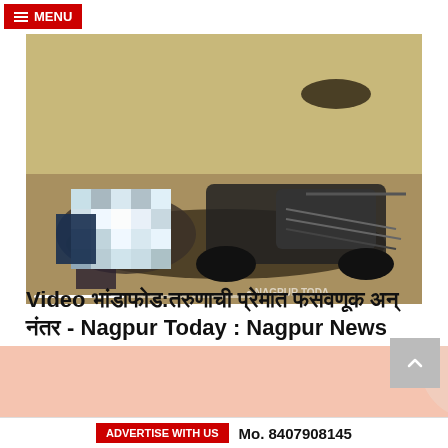MENU
[Figure (photo): News article photo showing an accident scene with a fallen motorcycle and person on the ground, partially pixelated/blurred. Watermark reads NAGPUR TODAY at bottom right. Slideshow indicator bar at bottom.]
Video भांडाफोड:तरुणाची प्रेमात फसवणूक अन् नंतर - Nagpur Today : Nagpur News
Nagpur Today New
[Figure (illustration): Partial view of a cartoon/illustration figure at the bottom of the page, pink/salmon background.]
ADVERTISE WITH US   Mo. 8407908145